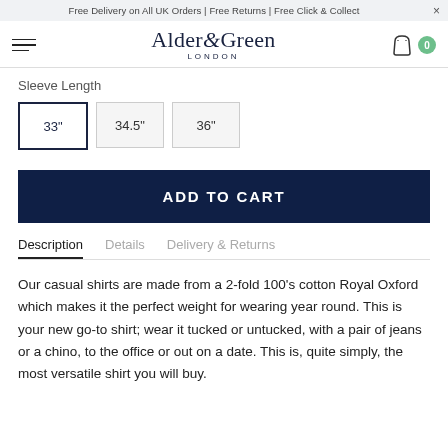Free Delivery on All UK Orders | Free Returns | Free Click & Collect
[Figure (screenshot): Alder & Green London logo with hamburger menu and shopping cart icon with badge showing 0]
Sleeve Length
33"  34.5"  36"
ADD TO CART
Description  Details  Delivery & Returns
Our casual shirts are made from a 2-fold 100's cotton Royal Oxford which makes it the perfect weight for wearing year round. This is your new go-to shirt; wear it tucked or untucked, with a pair of jeans or a chino, to the office or out on a date. This is, quite simply, the most versatile shirt you will buy.